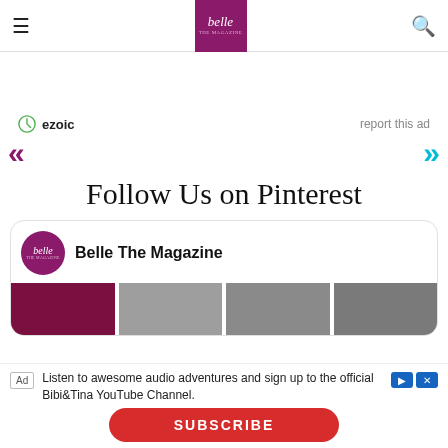Belle The Magazine
[Figure (logo): Belle The Magazine logo - purple square with italic white text 'belle THE MAGAZINE']
ezoic   report this ad
Follow Us on Pinterest
[Figure (screenshot): Pinterest profile card for Belle The Magazine showing profile avatar and four thumbnail images]
Ad  Listen to awesome audio adventures and sign up to the official Bibi&Tina YouTube Channel.
SUBSCRIBE